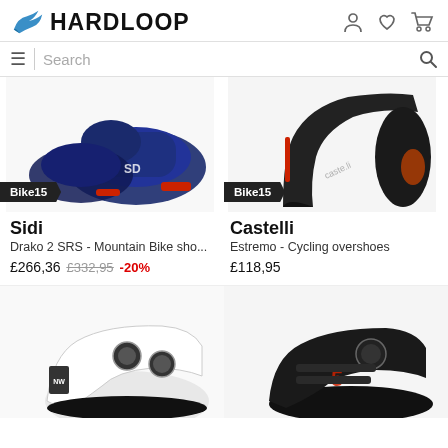HARDLOOP
Search
[Figure (photo): Blue Sidi Drako 2 SRS mountain bike shoes with red cleats, shown from the side]
Bike15
Sidi
Drako 2 SRS - Mountain Bike sho...
£266,36  £332,95  -20%
[Figure (photo): Black Castelli Estremo cycling overshoe shown from the side]
Bike15
Castelli
Estremo - Cycling overshoes
£118,95
[Figure (photo): White road cycling shoe with two BOA dials, partially visible at bottom of page]
[Figure (photo): Black flat cycling shoe with red logo, partially visible at bottom of page]